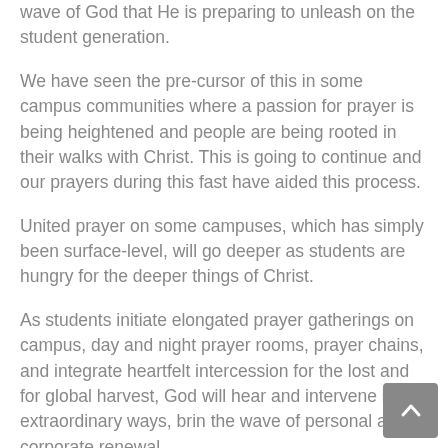wave of God that He is preparing to unleash on the student generation.
We have seen the pre-cursor of this in some campus communities where a passion for prayer is being heightened and people are being rooted in their walks with Christ. This is going to continue and our prayers during this fast have aided this process.
United prayer on some campuses, which has simply been surface-level, will go deeper as students are hungry for the deeper things of Christ.
As students initiate elongated prayer gatherings on campus, day and night prayer rooms, prayer chains, and integrate heartfelt intercession for the lost and for global harvest, God will hear and intervene in extraordinary ways, bringing the wave of personal and corporate renewal.